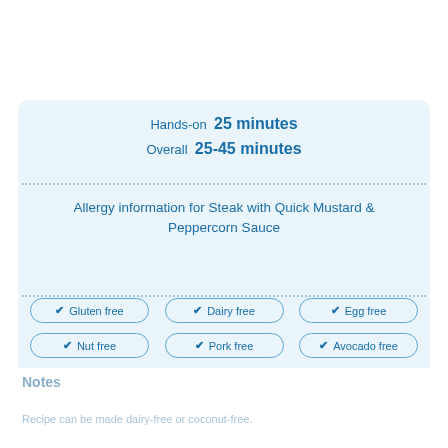Hands-on  25 minutes
Overall  25-45 minutes
Allergy information for Steak with Quick Mustard & Peppercorn Sauce
✔ Gluten free
✔ Dairy free
✔ Egg free
✔ Nut free
✔ Pork free
✔ Avocado free
✔ Coconut free
✔ Fish free
✔ Shellfish free
Notes
Recipe can be made dairy-free or coconut-free.